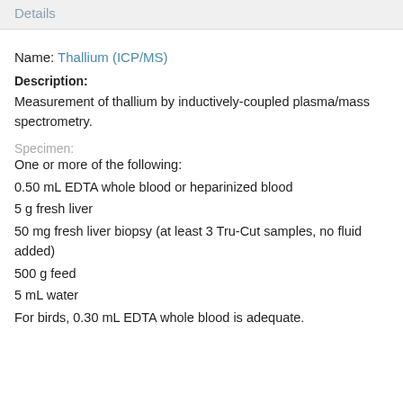Details
Name: Thallium (ICP/MS)
Description:
Measurement of thallium by inductively-coupled plasma/mass spectrometry.
Specimen:
One or more of the following:
0.50 mL EDTA whole blood or heparinized blood
5 g fresh liver
50 mg fresh liver biopsy (at least 3 Tru-Cut samples, no fluid added)
500 g feed
5 mL water
For birds, 0.30 mL EDTA whole blood is adequate.